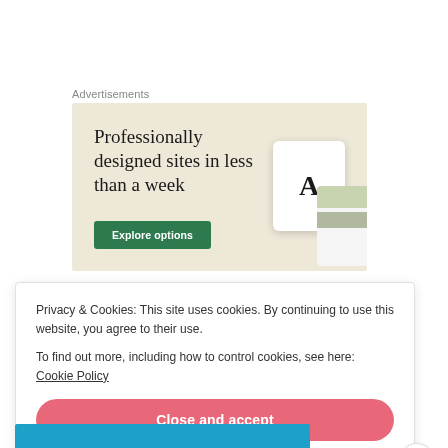Advertisements
[Figure (illustration): Advertisement banner with beige background showing text 'Professionally designed sites in less than a week' with a green 'Explore options' button and device mockup images on the right.]
Privacy & Cookies: This site uses cookies. By continuing to use this website, you agree to their use.
To find out more, including how to control cookies, see here: Cookie Policy
Close and accept